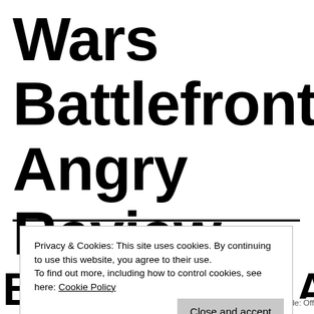Wars Battlefront Angry Review
Privacy & Cookies: This site uses cookies. By continuing to use this website, you agree to their use.
To find out more, including how to control cookies, see here: Cookie Policy
Close and accept
Back Against A Ga...